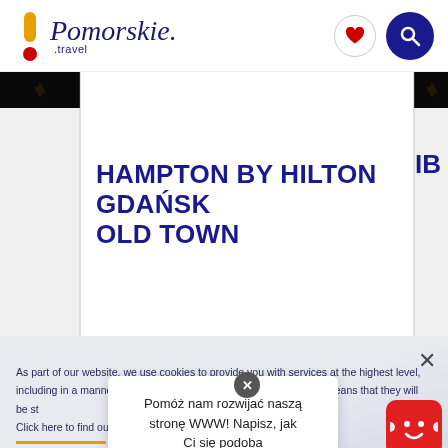[Figure (screenshot): Pomorskie.travel website header with logo, heart icon, and search icon]
DISTANCE — 478 M
HAMPTON BY HILTON GDAŃSK OLD TOWN
IB
As part of our website, we use cookies to provide you with services at the highest level, including in a manner tailored to individual needs. sing the website w means that they will be st Click here to find out more
Pomóż nam rozwijać naszą stronę WWW! Napisz, jak Ci się podoba